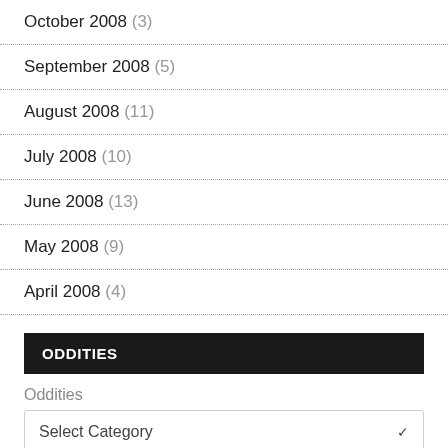October 2008 (3)
September 2008 (5)
August 2008 (11)
July 2008 (10)
June 2008 (13)
May 2008 (9)
April 2008 (4)
ODDITIES
Oddities
Select Category